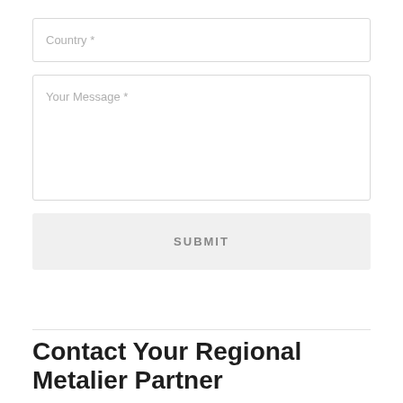Country *
Your Message *
SUBMIT
Contact Your Regional Metalier Partner